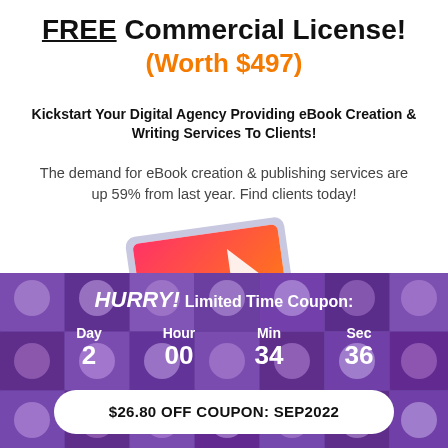FREE Commercial License! (Worth $497)
Kickstart Your Digital Agency Providing eBook Creation & Writing Services To Clients!
The demand for eBook creation & publishing services are up 59% from last year. Find clients today!
[Figure (illustration): Tablet/laptop device showing a pink/magenta eBook cover with white triangular design element]
HURRY! Limited Time Coupon:
Day 2  Hour 00  Min 34  Sec 36
$26.80 OFF COUPON: SEP2022